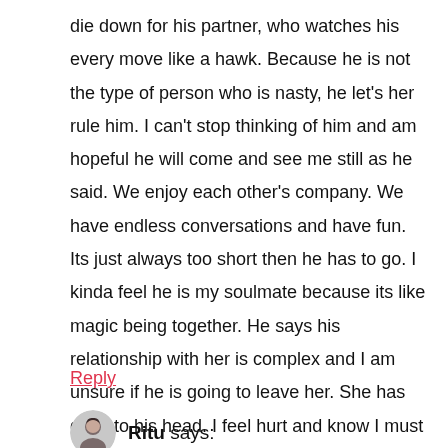die down for his partner, who watches his every move like a hawk. Because he is not the type of person who is nasty, he let's her rule him. I can't stop thinking of him and am hopeful he will come and see me still as he said. We enjoy each other's company. We have endless conversations and have fun. Its just always too short then he has to go. I kinda feel he is my soulmate because its like magic being together. He says his relationship with her is complex and I am unsure if he is going to leave her. She has got into his head. I feel hurt and know I must move on.
Reply
Ritu says: